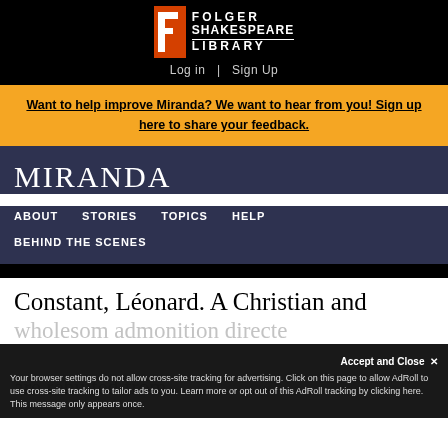[Figure (logo): Folger Shakespeare Library logo with stylized red F and white text]
Log in  |  Sign Up
Want to help improve Miranda? We want to hear from you! Sign up here to share your feedback.
MIRANDA
ABOUT   STORIES   TOPICS   HELP
BEHIND THE SCENES
Constant, Léonard. A Christian and
wholesom admonition directe
Accept and Close ✕
Your browser settings do not allow cross-site tracking for advertising. Click on this page to allow AdRoll to use cross-site tracking to tailor ads to you. Learn more or opt out of this AdRoll tracking by clicking here. This message only appears once.
are rebuited from